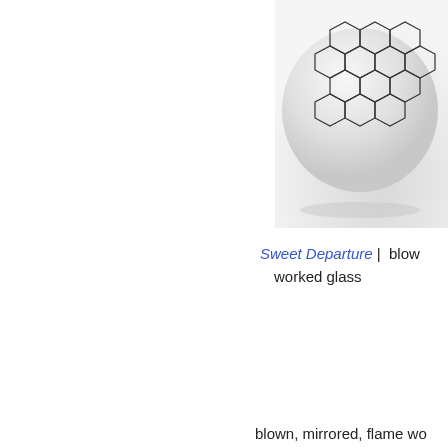[Figure (photo): A glass vessel or ornament with a honeycomb hexagonal pattern on its surface, photographed against a light gray/white background. Only the upper portion of the object is visible, cropped at the right side of the image.]
Sweet Departure  |  blown, worked glass
blown, mirrored, flame wo